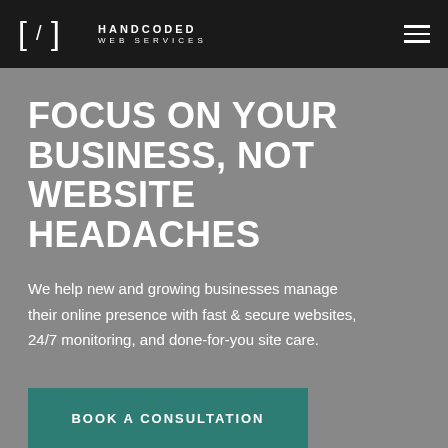HANDCODED WEB SERVICES
FOCUS ON YOUR BUSINESS, NOT WEBSITE HEADACHES
We help new and growing businesses manage their online presence with fast & secure websites, 24/7 monitoring, and done-for-you site care.
BOOK A CONSULTATION